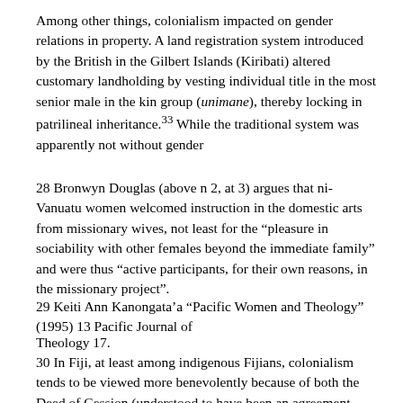Among other things, colonialism impacted on gender relations in property. A land registration system introduced by the British in the Gilbert Islands (Kiribati) altered customary landholding by vesting individual title in the most senior male in the kin group (unimane), thereby locking in patrilineal inheritance.33 While the traditional system was apparently not without gender
28 Bronwyn Douglas (above n 2, at 3) argues that ni-Vanuatu women welcomed instruction in the domestic arts from missionary wives, not least for the “pleasure in sociability with other females beyond the immediate family” and were thus “active participants, for their own reasons, in the missionary project”.
29 Keiti Ann Kanongata’a “Pacific Women and Theology” (1995) 13 Pacific Journal of
Theology 17.
30 In Fiji, at least among indigenous Fijians, colonialism tends to be viewed more benevolently because of both the Deed of Cession (understood to have been an agreement between Fijian chiefs and Britain), and the “protectionist” policy followed by the colonial government in relation to Fijian land and way of